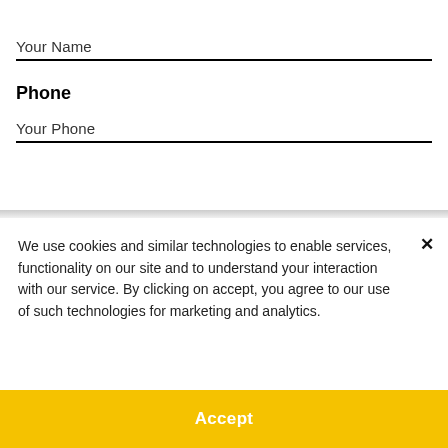Your Name
Phone
Your Phone
We use cookies and similar technologies to enable services, functionality on our site and to understand your interaction with our service. By clicking on accept, you agree to our use of such technologies for marketing and analytics.
Accept